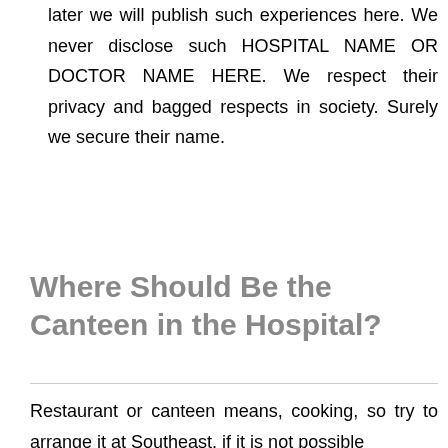later we will publish such experiences here. We never disclose such HOSPITAL NAME OR DOCTOR NAME HERE. We respect their privacy and bagged respects in society. Surely we secure their name.
Where Should Be the Canteen in the Hospital?
Restaurant or canteen means, cooking, so try to arrange it at Southeast, if it is not possible